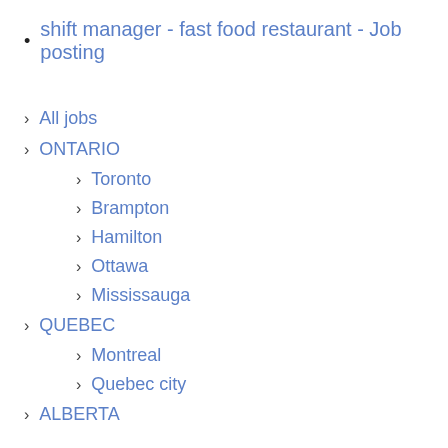shift manager - fast food restaurant - Job posting
All jobs
ONTARIO
Toronto
Brampton
Hamilton
Ottawa
Mississauga
QUEBEC
Montreal
Quebec city
ALBERTA